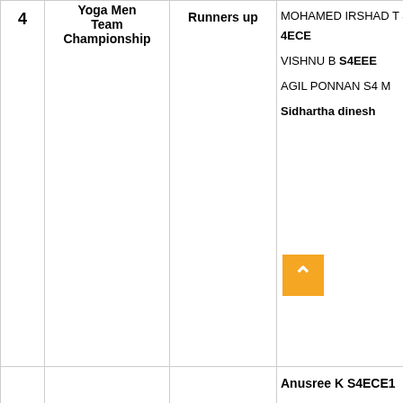| # | Event | Position | Names |
| --- | --- | --- | --- |
| 4 | Yoga Men Team Championship | Runners up | MOHAMED IRSHAD T S 4ECE
VISHNU B S4EEE
AGIL PONNAN S4M
Sidhartha dinesh |
|  |  |  | Anusree K S4ECE1 |